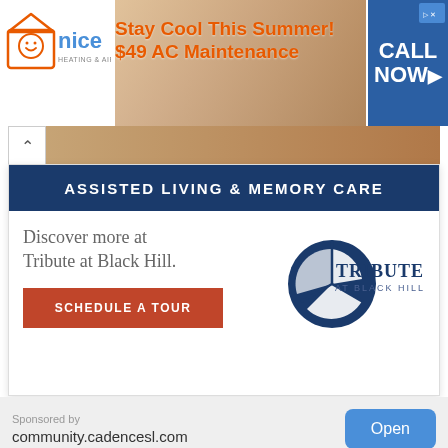[Figure (infographic): Nice Heating & Air ad banner: logo on left, orange text 'Stay Cool This Summer! $49 AC Maintenance' in center, blue 'CALL NOW>' box on right with person in hat background image]
[Figure (infographic): Tribute at Black Hill assisted living ad: dark blue banner 'ASSISTED LIVING & MEMORY CARE', card with 'Discover more at Tribute at Black Hill.' text, red 'SCHEDULE A TOUR' button, and Tribute at Black Hill logo]
Sponsored by
community.cadencesl.com
Open
Reduce Printing Costs